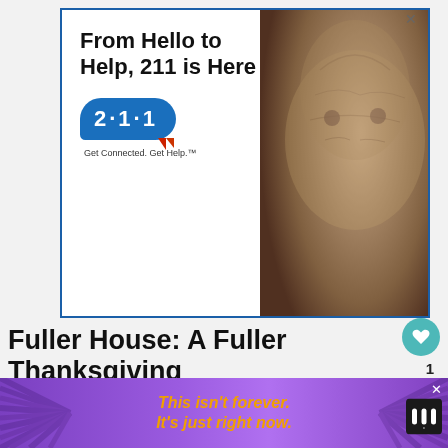[Figure (photo): Advertisement banner: '211 is Here' with elderly man photo and 2·1·1 logo bubble saying 'Get Connected. Get Help.' Text reads 'From Hello to Help, 211 is Here']
Fuller House: A Fuller Thanksgiving
[Figure (photo): What's Next thumbnail image - small photo]
WHAT'S NEXT → All The Best Black Wome...
The Tanner family's adventures continue as DJ
[Figure (photo): Bottom advertisement: 'This isn't forever. It's just right now.' on purple background with starburst lines]